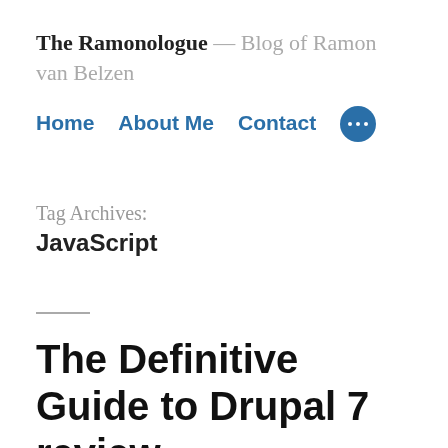The Ramonologue — Blog of Ramon van Belzen
Home   About Me   Contact   •••
Tag Archives:
JavaScript
The Definitive Guide to Drupal 7 review